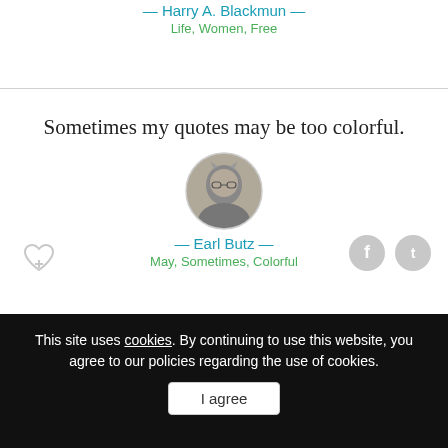— Harry A. Blackmun —
Life, Women, Free
Sometimes my quotes may be too colorful.
[Figure (photo): Circular portrait photo of Earl Butz, black and white, man with glasses]
— Earl Butz —
May, Sometimes, Colorful
This site uses cookies. By continuing to use this website, you agree to our policies regarding the use of cookies.